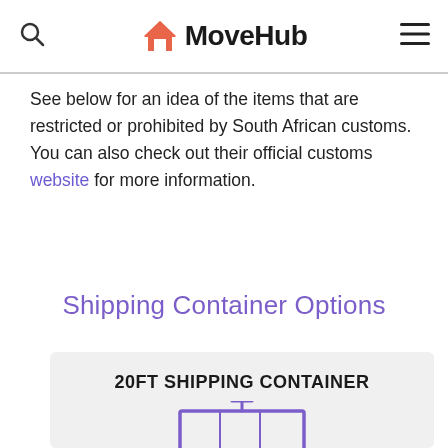MoveHub
See below for an idea of the items that are restricted or prohibited by South African customs. You can also check out their official customs website for more information.
Shipping Container Options
20FT SHIPPING CONTAINER
[Figure (illustration): Stylized icon of a shipping container in purple/violet line art]
Dimensions: